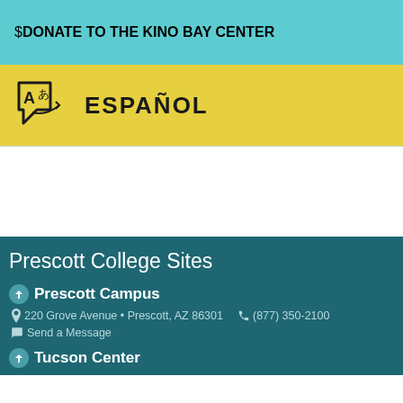DONATE TO THE KINO BAY CENTER
ESPAÑOL
Prescott College Sites
Prescott Campus
220 Grove Avenue • Prescott, AZ 86301   (877) 350-2100
Send a Message
Tucson Center